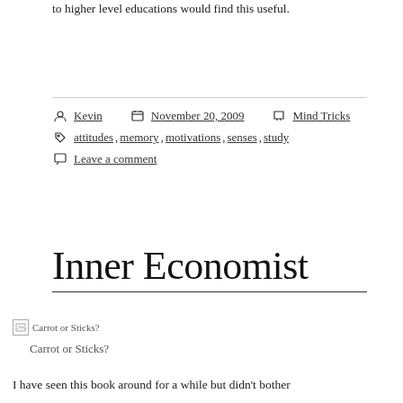to higher level educations would find this useful.
Kevin   November 20, 2009   Mind Tricks
attitudes , memory , motivations , senses , study
Leave a comment
Inner Economist
[Figure (photo): Broken image placeholder labeled 'Carrot or Sticks?']
Carrot or Sticks?
I have seen this book around for a while but didn't bother